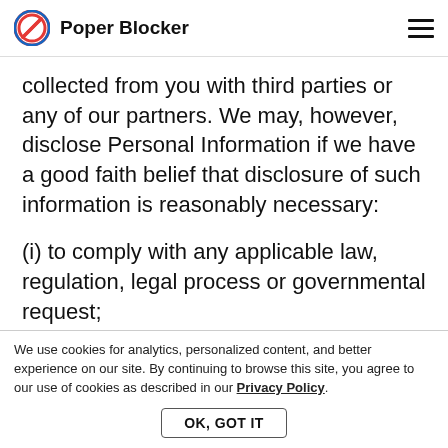Poper Blocker
collected from you with third parties or any of our partners. We may, however, disclose Personal Information if we have a good faith belief that disclosure of such information is reasonably necessary:
(i) to comply with any applicable law, regulation, legal process or governmental request;
(ii) to enforce our policies (including our policies of organizations) described in our ...
investigations of potential violations thereof;
We use cookies for analytics, personalized content, and better experience on our site. By continuing to browse this site, you agree to our use of cookies as described in our Privacy Policy.
OK, GOT IT